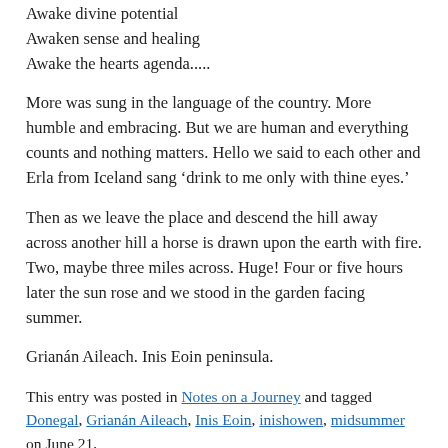Awake divine potential
Awaken sense and healing
Awake the hearts agenda.....
More was sung in the language of the country. More humble and embracing. But we are human and everything counts and nothing matters. Hello we said to each other and Erla from Iceland sang ‘drink to me only with thine eyes.’
Then as we leave the place and descend the hill away across another hill a horse is drawn upon the earth with fire. Two, maybe three miles across. Huge! Four or five hours later the sun rose and we stood in the garden facing summer.
Grianán Aileach. Inis Eoin peninsula.
This entry was posted in Notes on a Journey and tagged Donegal, Grianán Aileach, Inis Eoin, inishowen, midsummer on June 21,